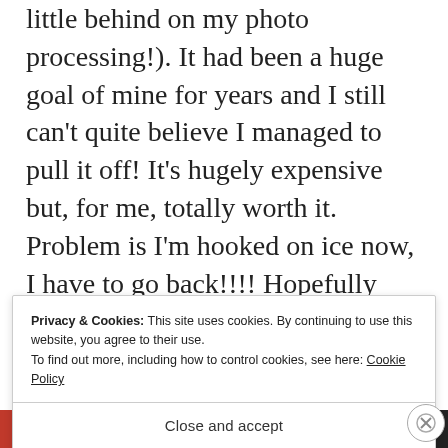little behind on my photo processing!). It had been a huge goal of mine for years and I still can't quite believe I managed to pull it off! It's hugely expensive but, for me, totally worth it. Problem is I'm hooked on ice now, I have to go back!!!! Hopefully you'll get there one day soon.
Privacy & Cookies: This site uses cookies. By continuing to use this website, you agree to their use. To find out more, including how to control cookies, see here: Cookie Policy
Close and accept